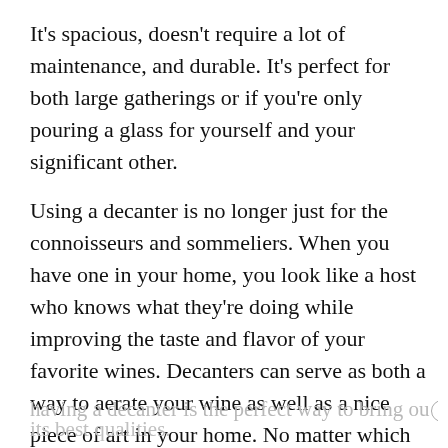It's spacious, doesn't require a lot of maintenance, and durable. It's perfect for both large gatherings or if you're only pouring a glass for yourself and your significant other.
Using a decanter is no longer just for the connoisseurs and sommeliers. When you have one in your home, you look like a host who knows what they're doing while improving the taste and flavor of your favorite wines. Decanters can serve as both a way to aerate your wine as well as a nice piece of art in your home. No matter which route you choose, anyone who appreciates a good glass of wine will find that
having a decanter is the perfect way to bring out its best qualities.